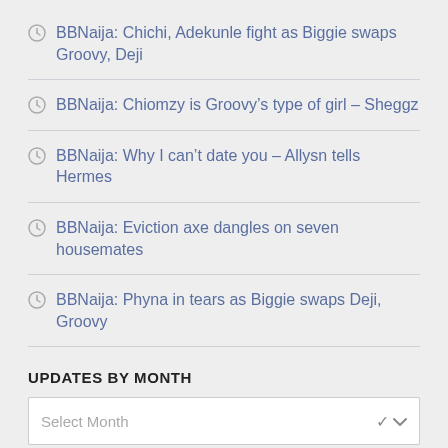BBNaija: Chichi, Adekunle fight as Biggie swaps Groovy, Deji
BBNaija: Chiomzy is Groovy’s type of girl – Sheggz
BBNaija: Why I can’t date you – Allysn tells Hermes
BBNaija: Eviction axe dangles on seven housemates
BBNaija: Phyna in tears as Biggie swaps Deji, Groovy
UPDATES BY MONTH
Select Month